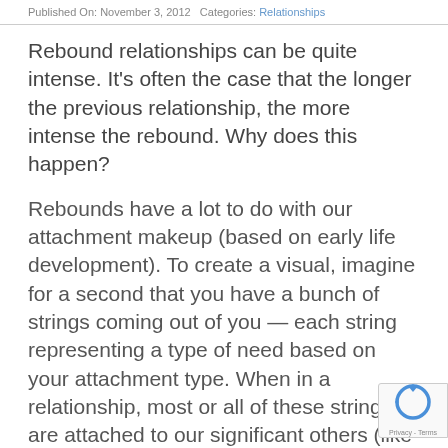Published On: November 3, 2012   Categories: Relationships
Rebound relationships can be quite intense. It's often the case that the longer the previous relationship, the more intense the rebound. Why does this happen?
Rebounds have a lot to do with our attachment makeup (based on early life development). To create a visual, imagine for a second that you have a bunch of strings coming out of you — each string representing a type of need based on your attachment type. When in a relationship, most or all of these strings are attached to our significant others (like